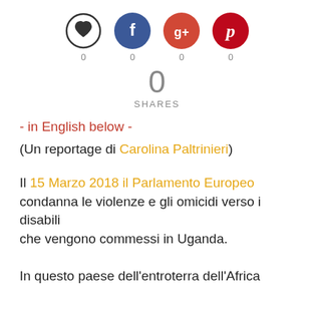[Figure (infographic): Social sharing buttons: heart/like button (outlined circle with heart), Facebook (blue circle with f), Google+ (orange-red circle with g+), Pinterest (red circle with p). Each has a count of 0 below it. Below all four icons is a large 0 and the word SHARES.]
- in English below -
(Un reportage di Carolina Paltrinieri)
Il 15 Marzo 2018 il Parlamento Europeo condanna le violenze e gli omicidi verso i disabili che vengono commessi in Uganda.
In questo paese dell'entroterra dell'Africa